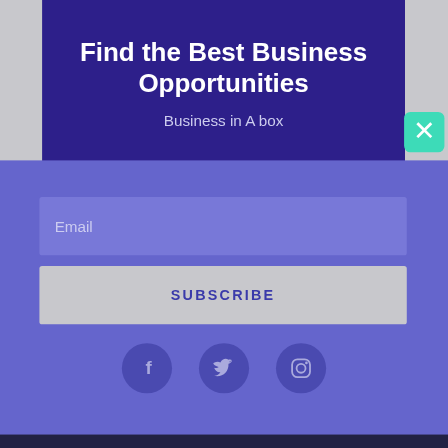Find the Best Business Opportunities
Business in A box
[Figure (screenshot): Close/X button with teal/mint green background and white X symbol]
Email
SUBSCRIBE
[Figure (infographic): Three social media icon circles: Facebook (f), Twitter (bird), Instagram (camera) on dark purple circles]